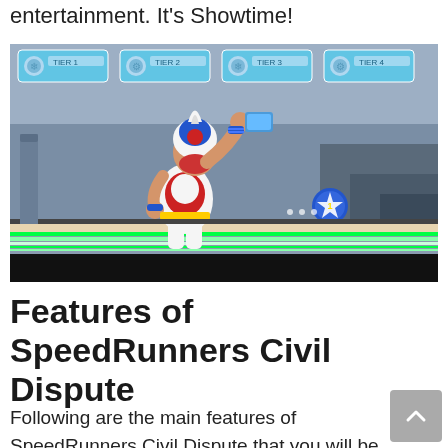entertainment. It's Showtime!
[Figure (screenshot): SpeedRunners Civil Dispute gameplay screenshot showing a side-scrolling platformer with a wrestler/luchador character raising a fist, colorful UI panels at the top showing player slots, green speed strip at the bottom, blue coin/token in the middle.]
Features of SpeedRunners Civil Dispute
Following are the main features of SpeedRunners Civil Dispute that you will be able to experience after the first install on your